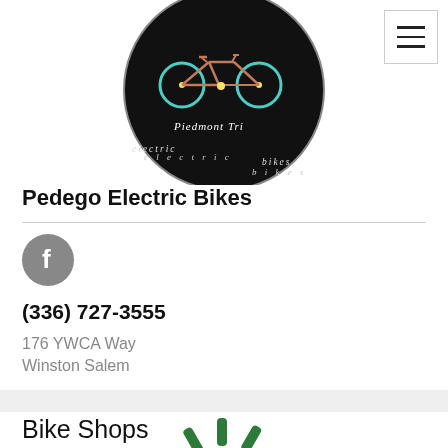[Figure (logo): Circular logo for Pedego / Piedmont Trike electric bikes — dark background with illustrated bikes in neon blue and copper tones, white text around the rim reading 'electric bikes' and 'Piedmont Tr...']
Pedego Electric Bikes
[Figure (logo): Facebook logo — white 'f' on a gray circle]
(336) 727-3555
176 YWCA Way
Winston Salem
Bike Shops
[Figure (illustration): Partial green loading spinner / radial icon visible at bottom of page]